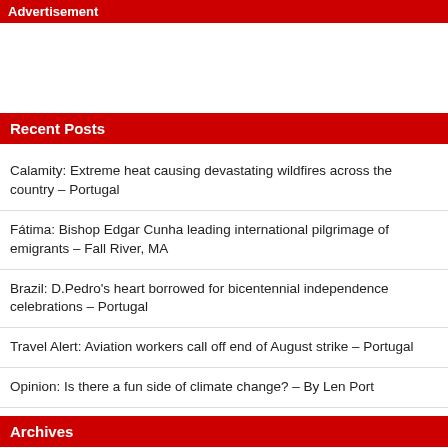Advertisement
Recent Posts
Calamity: Extreme heat causing devastating wildfires across the country – Portugal
Fátima: Bishop Edgar Cunha leading international pilgrimage of emigrants – Fall River, MA
Brazil: D.Pedro's heart borrowed for bicentennial independence celebrations – Portugal
Travel Alert: Aviation workers call off end of August strike – Portugal
Opinion: Is there a fun side of climate change? – By Len Port
Archives
August 2022
July 2022
June 2022